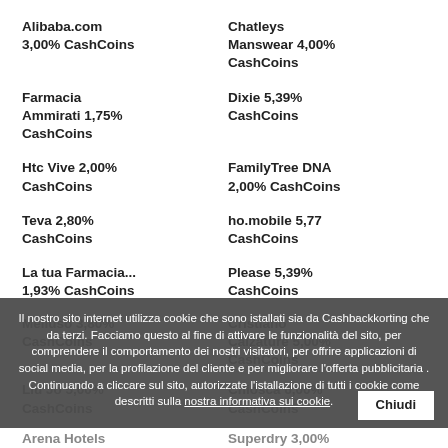Alibaba.com 3,00% CashCoins
Chatleys Manswear 4,00% CashCoins
Farmacia Ammirati 1,75% CashCoins
Dixie 5,39% CashCoins
Htc Vive 2,00% CashCoins
FamilyTree DNA 2,00% CashCoins
Teva 2,80% CashCoins
ho.mobile 5,77 CashCoins
La tua Farmacia... 1,93% CashCoins
Please 5,39% CashCoins
Melluso 3,80% CashCoins
Cristiano Calzature 5,00% CashCoins
Liu Jo 5,00% CashCoins
Chiosca 6,00% CashCoins
Arena Hotels 3,00% CashCoins
Superdry 3,00% CashCoins
Il nostro sito internet utilizza cookie che sono istallati sia da Cashbackkorting che da terzi. Facciamo questo al fine di attivare le funzionalità del sito, per comprendere il comportamento dei nostri visitatori, per offrire applicazioni di social media, per la profilazione del cliente e per migliorare l'offerta pubblicitaria . Continuando a cliccare sul sito, autorizzate l'istallazione di tutti i cookie come descritti sulla nostra informativa sui cookie.
Chiudi